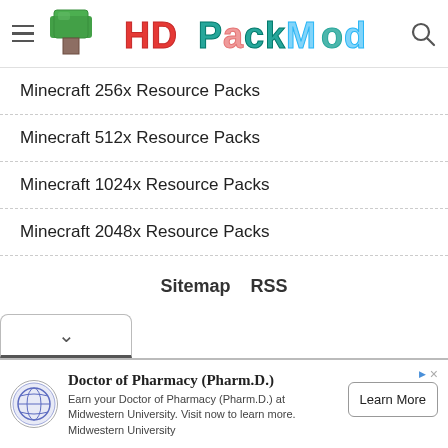[Figure (logo): HD Pack Mod website header with hamburger menu, green Minecraft-style tree block icon, colorful HD Pack Mod logo text, and search icon]
Minecraft 256x Resource Packs
Minecraft 512x Resource Packs
Minecraft 1024x Resource Packs
Minecraft 2048x Resource Packs
Sitemap    RSS
[Figure (screenshot): Dropdown chevron bar and advertisement banner for Doctor of Pharmacy (Pharm.D.) at Midwestern University with Learn More button]